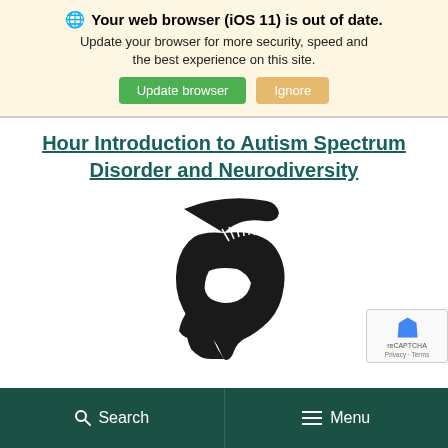Your web browser (iOS 11) is out of date. Update your browser for more security, speed and the best experience on this site. [Update browser] [Ignore]
Hour Introduction to Autism Spectrum Disorder and Neurodiversity
[Figure (logo): Michigan State University Spartan helmet logo in black silhouette]
[Figure (other): reCAPTCHA badge with Privacy and Terms links]
Search  Menu